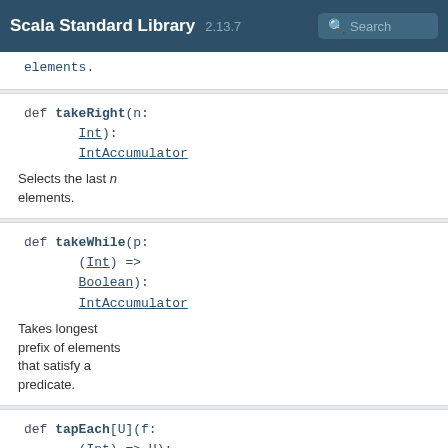Scala Standard Library 2.13.7 Search
elements.
def takeRight(n: Int): IntAccumulator
Selects the last n elements.
def takeWhile(p: (Int) => Boolean): IntAccumulator
Takes longest prefix of elements that satisfy a predicate.
def tapEach[U](f: (Int) => U): IntAccumulator
Applies a side-effecting function to each element in